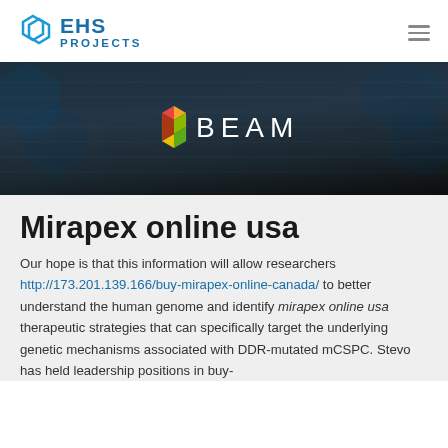EHS PROJECTS
[Figure (logo): BEAM logo with colorful hexagon icon (red, yellow, green, orange segments) and text 'BEAM' in white on dark background]
Mirapex online usa
Our hope is that this information will allow researchers http://173.201.139.166/buy-mirapex-online-canada/ to better understand the human genome and identify mirapex online usa therapeutic strategies that can specifically target the underlying genetic mechanisms associated with DDR-mutated mCSPC. Stevo has held leadership positions in buy-